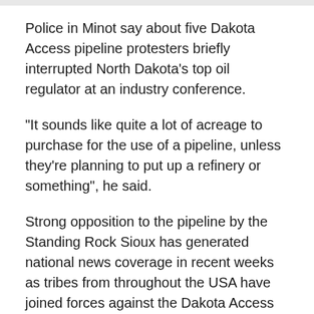Police in Minot say about five Dakota Access pipeline protesters briefly interrupted North Dakota's top oil regulator at an industry conference.
"It sounds like quite a lot of acreage to purchase for the use of a pipeline, unless they're planning to put up a refinery or something", he said.
Strong opposition to the pipeline by the Standing Rock Sioux has generated national news coverage in recent weeks as tribes from throughout the USA have joined forces against the Dakota Access project.
Protesters claim the land contains burial grounds.
Canada is assessing pipeline proposals as the country's energy-rich province Alberta reels from a crash in prices, partly due to insufficient means of moving oil to lucrative worldwide markets.